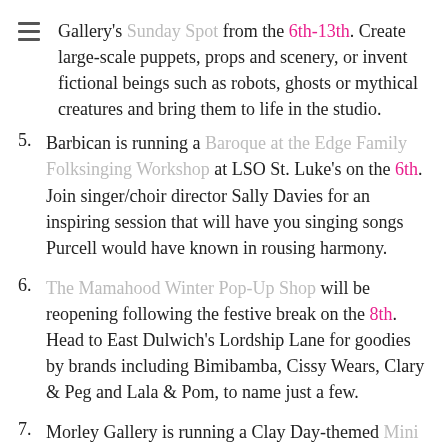Gallery's Sunday Spot from the 6th-13th. Create large-scale puppets, props and scenery, or invent fictional beings such as robots, ghosts or mythical creatures and bring them to life in the studio.
5. Barbican is running a Baroque at the Edge Family Folksinging Workshop at LSO St. Luke's on the 6th. Join singer/choir director Sally Davies for an inspiring session that will have you singing songs Purcell would have known in rousing harmony.
6. The Mamahood Winter Pop-Up Shop will be reopening following the festive break on the 8th. Head to East Dulwich's Lordship Lane for goodies by brands including Bimibamba, Cissy Wears, Clary & Peg and Lala & Pom, to name just a few.
7. Morley Gallery is running a Clay Day-themed Mini Morley drop-in session on the 12th. Children aged 4+ are invited